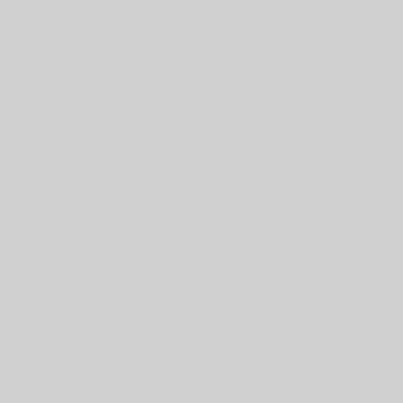cause for attaching to it this name — intercede for their cruel mother and misery.
THE lady she... Aneath th... And she was... Were run... The tane it p... With a ba... The other it... With a ha... ' Now why p... And why... ' O, we sue w... For the sc... ' O bide wi' m... I'll cleid y... And all for th... Yese hae... She heard a w... Say, ' We... She stretche... bairn,... ' Kiss me... She sough... And kiss s... ' O naught sa... Of a han...
« Anterior